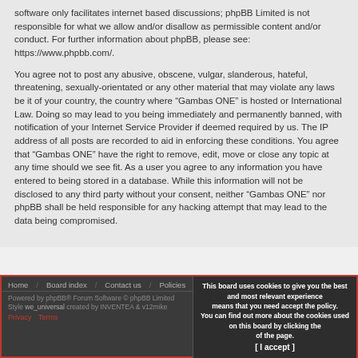software only facilitates internet based discussions; phpBB Limited is not responsible for what we allow and/or disallow as permissible content and/or conduct. For further information about phpBB, please see: https://www.phpbb.com/.
You agree not to post any abusive, obscene, vulgar, slanderous, hateful, threatening, sexually-orientated or any other material that may violate any laws be it of your country, the country where “Gambas ONE” is hosted or International Law. Doing so may lead to you being immediately and permanently banned, with notification of your Internet Service Provider if deemed required by us. The IP address of all posts are recorded to aid in enforcing these conditions. You agree that “Gambas ONE” have the right to remove, edit, move or close any topic at any time should we see fit. As a user you agree to any information you have entered to being stored in a database. While this information will not be disclosed to any third party without your consent, neither “Gambas ONE” nor phpBB shall be held responsible for any hacking attempt that may lead to the data being compromised.
Home | Board index | Contact us | Policies
This board uses cookies to give you the best and most relevant experience means that you need accept the policy. You can find out more about the cookies used on this board by clicking the of the page. [ I accept ]
Powered by phpBB® Forum Software © phpBB Limited
Style we_universal created by INVENTEA & v12mike
Privacy Terms